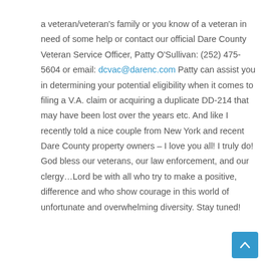a veteran/veteran's family or you know of a veteran in need of some help or contact our official Dare County Veteran Service Officer, Patty O'Sullivan: (252) 475-5604 or email: dcvac@darenc.com Patty can assist you in determining your potential eligibility when it comes to filing a V.A. claim or acquiring a duplicate DD-214 that may have been lost over the years etc. And like I recently told a nice couple from New York and recent Dare County property owners – I love you all! I truly do! God bless our veterans, our law enforcement, and our clergy…Lord be with all who try to make a positive, difference and who show courage in this world of unfortunate and overwhelming diversity. Stay tuned!